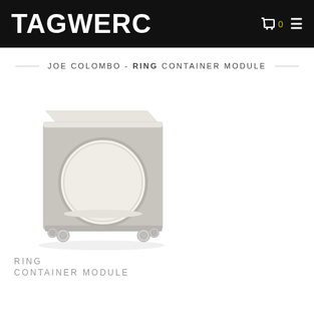TAGWERC
JOE COLOMBO - RING CONTAINER MODULE
[Figure (photo): Product photo of the RING Container Module by Joe Colombo — a grey cube-shaped furniture piece on casters with a large circular cutout on the front face and a light-colored interior shelf.]
RING
CONTAINER MODULE